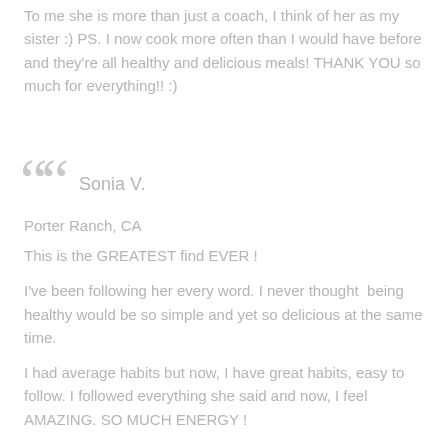To me she is more than just a coach, I think of her as my sister :)  PS. I now cook more often than I would have before and they're all healthy and delicious meals! THANK YOU so much for everything!! :)
Sonia V.
Porter Ranch, CA
This is the GREATEST find EVER !
I've been following her every word.  I never thought  being healthy would be so simple and yet so delicious at the same time.
I had average habits but now, I have great habits, easy to follow.  I followed everything she said and now, I feel AMAZING.   SO MUCH ENERGY !
Simple recipes, easy to make, easy to follow and YUMMY !